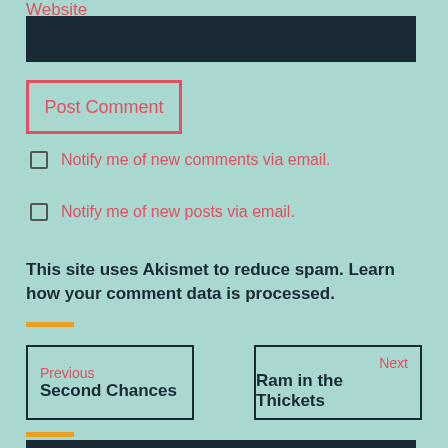Website
Post Comment
Notify me of new comments via email.
Notify me of new posts via email.
This site uses Akismet to reduce spam. Learn how your comment data is processed.
Previous
Second Chances
Next
Ram in the Thickets
Search ...